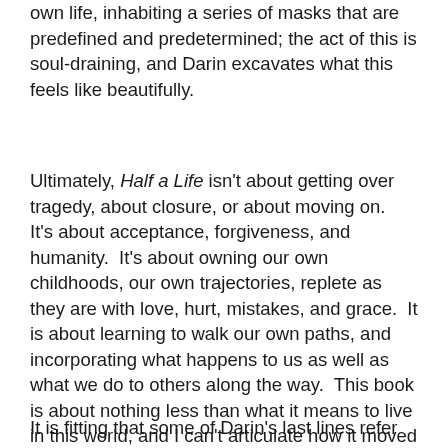own life, inhabiting a series of masks that are predefined and predetermined; the act of this is soul-draining, and Darin excavates what this feels like beautifully.
Ultimately, Half a Life isn't about getting over tragedy, about closure, or about moving on.  It's about acceptance, forgiveness, and humanity.  It's about owning our own childhoods, our own trajectories, replete as they are with love, hurt, mistakes, and grace.  It is about learning to walk our own paths, and incorporating what happens to us as well as what we do to others along the way.  This book is about nothing less than what it means to live in this world, and I can't articulate how it moved me.
It is fitting that some of Darin's last lines refer to